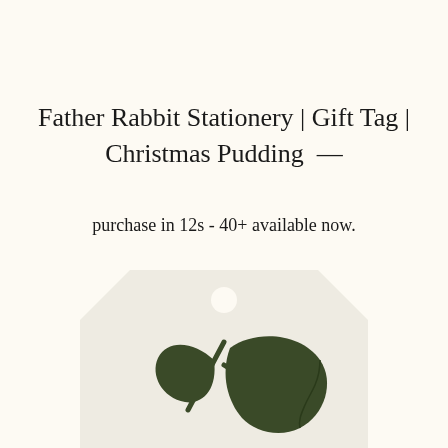Father Rabbit Stationery | Gift Tag | Christmas Pudding  —
purchase in 12s - 40+ available now.
[Figure (illustration): A gift tag shape with a rounded rectangular body, notched top corners, a small circular hole at the top center, and a dark green holly leaf and stem illustration at the bottom center of the tag. The tag background is light beige/off-white.]